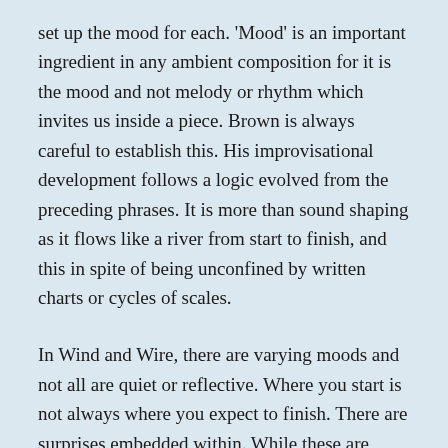set up the mood for each. 'Mood' is an important ingredient in any ambient composition for it is the mood and not melody or rhythm which invites us inside a piece. Brown is always careful to establish this. His improvisational development follows a logic evolved from the preceding phrases. It is more than sound shaping as it flows like a river from start to finish, and this in spite of being unconfined by written charts or cycles of scales.
In Wind and Wire, there are varying moods and not all are quiet or reflective. Where you start is not always where you expect to finish. There are surprises embedded within. While these are essentially interior landscapes they are no less real for that. They invoke vistas and engage with our ever-changing realities. Something we have hopefully learned to value in these days of inner...